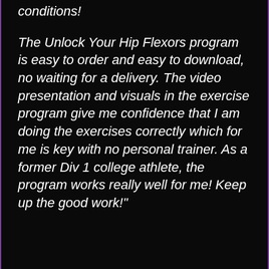conditions!
The Unlock Your Hip Flexors program is easy to order and easy to download, no waiting for a delivery. The video presentation and visuals in the exercise program give me confidence that I am doing the exercises correctly which for me is key with no personal trainer. As a former Div 1 college athlete, the program works really well for me! Keep up the good work!"